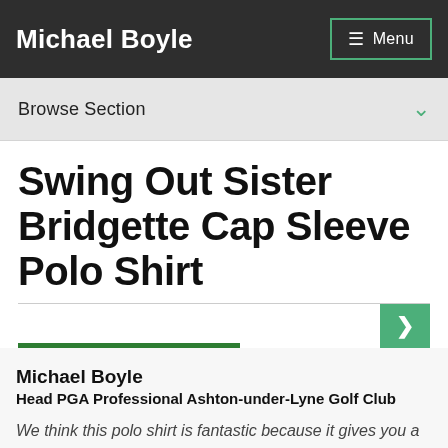Michael Boyle
Browse Section
Swing Out Sister Bridgette Cap Sleeve Polo Shirt
Michael Boyle
Head PGA Professional Ashton-under-Lyne Golf Club
We think this polo shirt is fantastic because it gives you a look that catches people's eyes for all the right reasons.